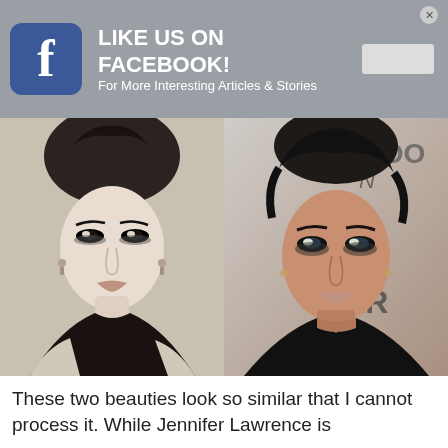[Figure (infographic): Facebook 'Like Us on Facebook' banner with Facebook icon/logo on left, bold white text 'LIKE US ON FACEBOOK! For More Interesting Articles & Stories' in center, a grey like button on right, and a close X button in top-right corner. Background is grey.]
[Figure (photo): Side-by-side comparison of two women. Left: black-and-white vintage photo of a young woman with dark upswept hair, heavy eye makeup, wearing earrings and a dark top. Right: color photo of Jennifer Lawrence with dark upswept hair, smoky eye makeup, at a red carpet event with partial text 'Y GOO' and 'ER G' visible in background.]
These two beauties look so similar that I cannot process it. While Jennifer Lawrence is